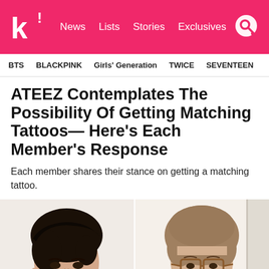k! News Lists Stories Exclusives
BTS  BLACKPINK  Girls' Generation  TWICE  SEVENTEEN
ATEEZ Contemplates The Possibility Of Getting Matching Tattoos— Here's Each Member's Response
Each member shares their stance on getting a matching tattoo.
[Figure (photo): Two photos side by side showing ATEEZ members, left photo shows a young man with dark hair and ear piercings, right photo shows a young man with light brown hair and brown-framed glasses]